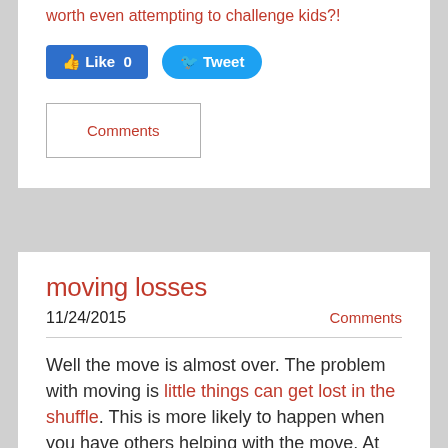worth even attempting to challenge kids?!
[Figure (screenshot): Facebook Like button (count: 0) and Twitter Tweet button]
Comments
moving losses
Comments
11/24/2015
Well the move is almost over. The problem with moving is little things can get lost in the shuffle. This is more likely to happen when you have others helping with the move. At other times, it can be completely your own fault and exhaustion. I prefer to blame